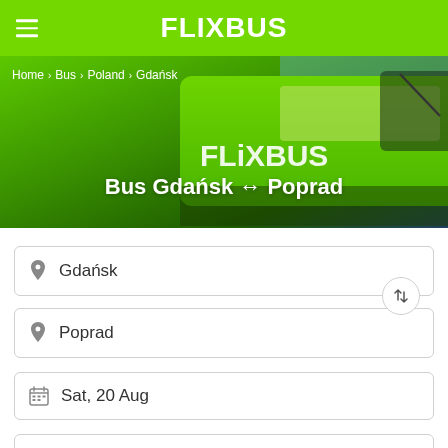FLiXBUS
[Figure (photo): FlixBus green bus close-up with FlixBus logo visible on the side]
Home > Bus > Poland > Gdańsk
Bus Gdańsk ↔ Poprad
Gdańsk
Poprad
Sat, 20 Aug